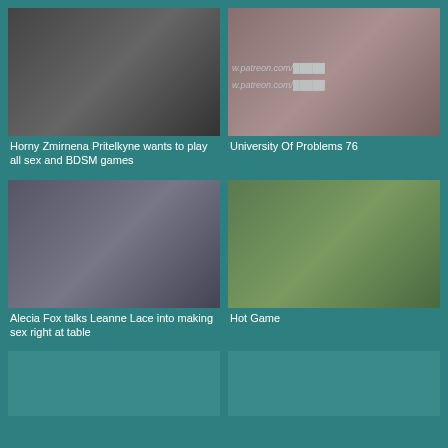[Figure (photo): Thumbnail image - adult content]
Horny Zmirnena Pritelkyne wants to play all sex and BDSM games
[Figure (photo): Thumbnail image with patreon watermark - adult content]
University Of Problems 76
[Figure (photo): Thumbnail image - adult content]
Alecia Fox talks Leanne Lace into making sex right at table
[Figure (photo): Thumbnail image - adult content outdoors]
Hot Game
[Figure (photo): Thumbnail image - partially visible]
[Figure (photo): Thumbnail image - partially visible]